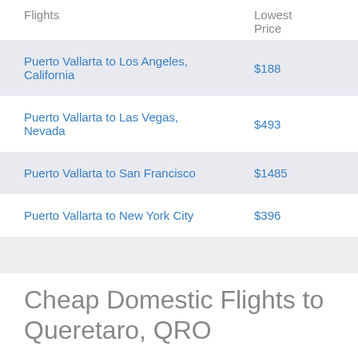| Flights | Lowest Price |
| --- | --- |
| Puerto Vallarta to Los Angeles, California | $188 |
| Puerto Vallarta to Las Vegas, Nevada | $493 |
| Puerto Vallarta to San Francisco | $1485 |
| Puerto Vallarta to New York City | $396 |
Cheap Domestic Flights to Queretaro, QRO